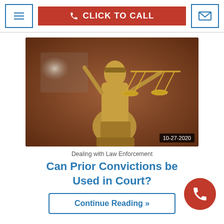≡  CLICK TO CALL  ✉
[Figure (photo): Lady Justice bronze statue holding scales of justice, blindfolded, with a blurred warm brown background. Date overlay reads 10-27-2020.]
10-27-2020
Dealing with Law Enforcement
Can Prior Convictions be Used in Court?
Continue Reading »